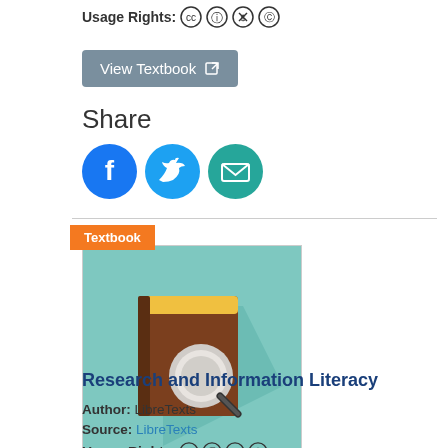Usage Rights: [CC icons]
View Textbook [external link icon]
Share
[Figure (infographic): Social share icons: Facebook (blue circle with f), Twitter (light blue circle with bird), Email (teal circle with envelope)]
[Figure (illustration): Textbook cover image with badge labeled 'Textbook'. Cover shows a flat-design book with a magnifying glass icon on teal background.]
Research and Information Literacy
Author: LibreTexts
Source: LibreTexts
Usage Rights: [CC icons]